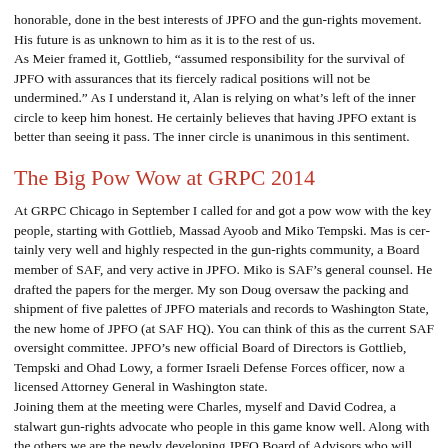honorable, done in the best interests of JPFO and the gun-rights movement. His future is as unknown to him as it is to the rest of us. As Meier framed it, Gottlieb, “assumed responsibility for the survival of JPFO with assurances that its fiercely radical positions will not be undermined.” As I understand it, Alan is relying on what’s left of the inner circle to keep him honest. He certainly believes that having JPFO extant is better than seeing it pass. The inner circle is unanimous in this sentiment.
The Big Pow Wow at GRPC 2014
At GRPC Chicago in September I called for and got a pow wow with the key people, starting with Gottlieb, Massad Ayoob and Miko Tempski. Mas is certainly very well and highly respected in the gun-rights community, a Board member of SAF, and very active in JPFO. Miko is SAF’s general counsel. He drafted the papers for the merger. My son Doug oversaw the packing and shipment of five palettes of JPFO materials and records to Washington State, the new home of JPFO (at SAF HQ). You can think of this as the current SAF oversight committee. JPFO’s new official Board of Directors is Gottlieb, Tempski and Ohad Lowy, a former Israeli Defense Forces officer, now a licensed Attorney General in Washington state. Joining them at the meeting were Charles, myself and David Codrea, a stalwart gun-rights advocate who people in this game know well. Along with the others we are the newly developing JPFO Board of Advisors who will